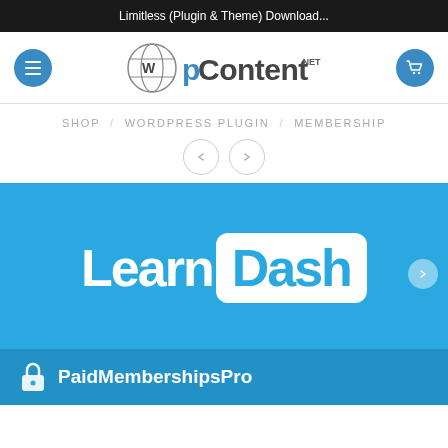Limitless (Plugin & Theme) Download...
[Figure (logo): WPContent.net logo with WordPress sphere icon, hamburger menu button on left and cart button on right]
SHOP / WORDPRESS PLUGIN / MEMBERSHIP
[Figure (screenshot): LearnDash plugin product image on blue background with PaidMembershipsPro logo at bottom]